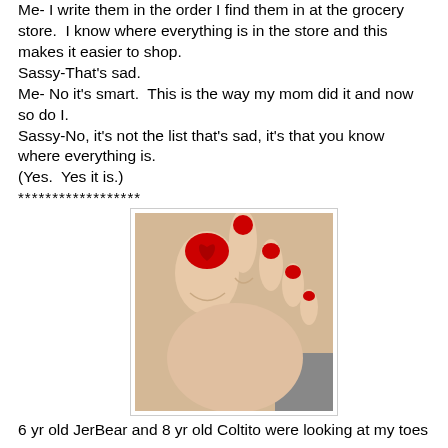Me- I write them in the order I find them in at the grocery store. I know where everything is in the store and this makes it easier to shop.
Sassy-That's sad.
Me- No it's smart. This is the way my mom did it and now so do I.
Sassy-No, it's not the list that's sad, it's that you know where everything is.
(Yes. Yes it is.)
******************
[Figure (photo): A close-up photo of a human foot with red nail polish on the toes. The second toe appears raised/extended upward.]
6 yr old JerBear and 8 yr old Coltito were looking at my toes